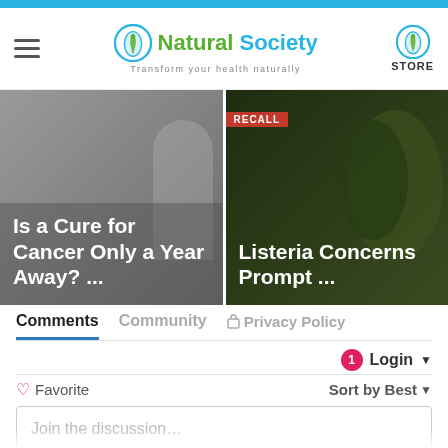Natural Society — Transform your health naturally | STORE
[Figure (screenshot): Two article card thumbnails partially visible: left card shows 'Is a Cure for Cancer Only a Year Away? ...' on a gray background; right card shows 'Listeria Concerns Prompt ...' with avocados on dark background with red banner]
Comments | Community | Privacy Policy
1 Login ▼
♡ Favorite   Sort by Best ▼
Join the discussion...
LOG IN WITH
[Figure (infographic): Social login icons: Disqus (D, blue), Facebook (f, dark blue), Twitter (bird, light blue), Google (G, red)]